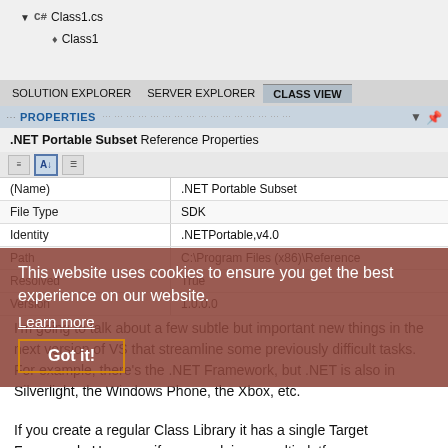[Figure (screenshot): Visual Studio IDE screenshot showing Solution Explorer with Class1.cs and Class1 node, tab bar with SOLUTION EXPLORER, SERVER EXPLORER, CLASS VIEW tabs, a PROPERTIES panel showing .NET Portable Subset Reference Properties with a table of Name, File Type, Identity, Path, Resolved, Version properties, overlaid with a cookie consent banner.]
I'm going to talk about a few subtle but important new things in the next version of VS that streamline some previously difficult tasks. For example, there's the .NET Framework, but .NET is also in Silverlight, the Windows Phone, the Xbox, etc.
If you create a regular Class Library it has a single Target Framework. However, if you are doing a multi-platform